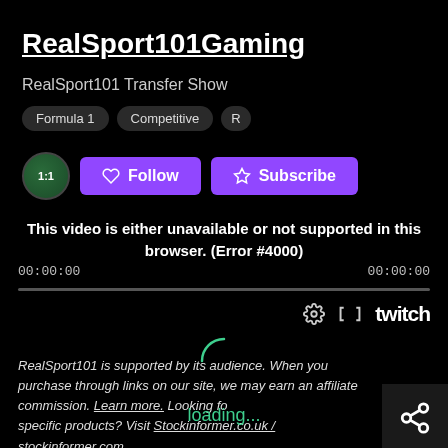RealSport101Gaming
RealSport101 Transfer Show
Formula 1  Competitive  R
[Figure (screenshot): Twitch video player showing error: 'This video is either unavailable or not supported in this browser. (Error #4000)' with timecodes 00:00:00 on both sides and a progress bar]
RealSport101 is supported by its audience. When you purchase through links on our site, we may earn an affiliate commission. Learn more. Looking for specific products? Visit Stockinformer.co.uk / stockinformer.com.
[Figure (other): Loading spinner arc in teal/green color]
loading...